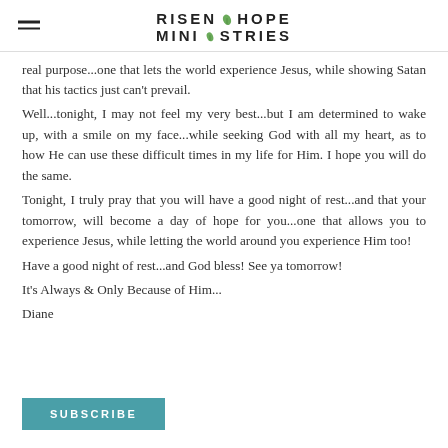RISEN HOPE MINISTRIES
real purpose...one that lets the world experience Jesus, while showing Satan that his tactics just can't prevail.
Well...tonight, I may not feel my very best...but I am determined to wake up, with a smile on my face...while seeking God with all my heart, as to how He can use these difficult times in my life for Him. I hope you will do the same.
Tonight, I truly pray that you will have a good night of rest...and that your tomorrow, will become a day of hope for you...one that allows you to experience Jesus, while letting the world around you experience Him too!
Have a good night of rest...and God bless! See ya tomorrow!
It's Always & Only Because of Him...
Diane